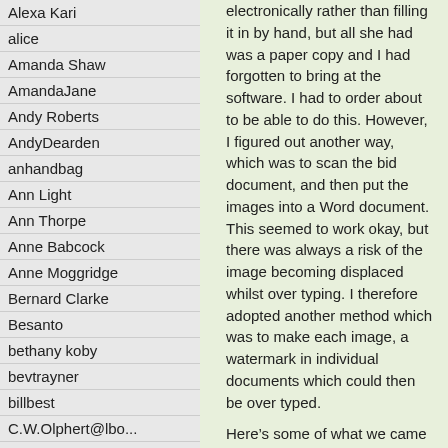Alexa Kari
alice
Amanda Shaw
AmandaJane
Andy Roberts
AndyDearden
anhandbag
Ann Light
Ann Thorpe
Anne Babcock
Anne Moggridge
Bernard Clarke
Besanto
bethany koby
bevtrayner
billbest
C.W.Olphert@lbo...
Carole Wright
cathp
Chris Bailey
electronically rather than filling it in by hand, but all she had was a paper copy and I had forgotten to bring at the software. I had to order about to be able to do this. However, I figured out another way, which was to scan the bid document, and then put the images into a Word document. This seemed to work okay, but there was always a risk of the image becoming displaced whilst over typing. I therefore adopted another method which was to make each image, a watermark in individual documents which could then be over typed.
Here’s some of what we came up with.
The Village Association is